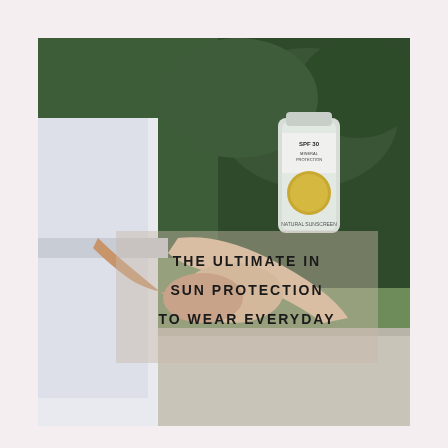[Figure (photo): A person in a white shirt applying sunscreen lotion from a tube labeled 'SPF 30 Natural Sunscreen' onto their hands, resting on a stone ledge with green foliage in the background. Overlaid on the photo is a semi-transparent box with bold text reading 'THE ULTIMATE IN SUN PROTECTION TO WEAR EVERYDAY'.]